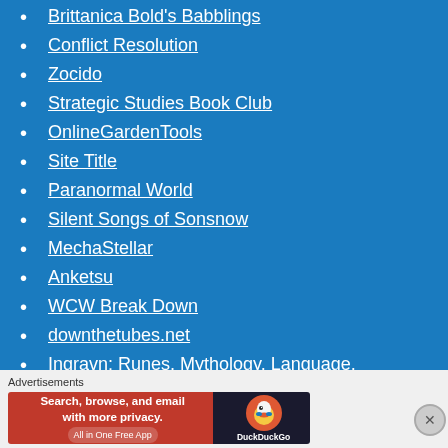Brittanica Bold's Babblings
Conflict Resolution
Zocido
Strategic Studies Book Club
OnlineGardenTools
Site Title
Paranormal World
Silent Songs of Sonsnow
MechaStellar
Anketsu
WCW Break Down
downthetubes.net
Ingravn: Runes, Mythology, Language, Calendars, etc.
Advertisements
[Figure (screenshot): DuckDuckGo advertisement banner: 'Search, browse, and email with more privacy. All in One Free App' with DuckDuckGo logo on dark background]